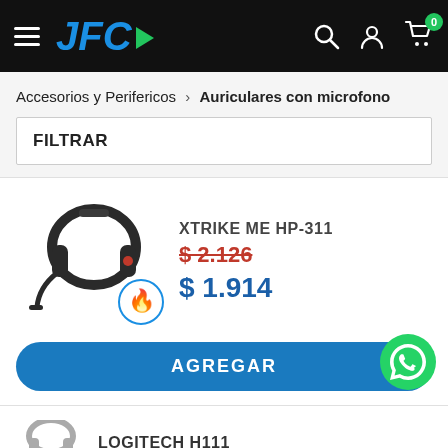JFC — Navigation header with hamburger menu, logo, search, account, and cart icons
Accesorios y Perifericos › Auriculares con microfono
FILTRAR
XTRIKE ME HP-311
$ 2.126
$ 1.914
AGREGAR
LOGITECH H111